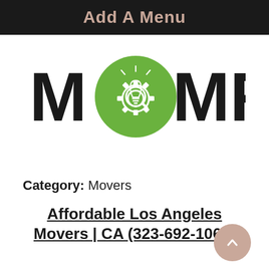Add A Menu
[Figure (logo): MOMRP logo with green circle containing a gear/lightbulb icon, bold dark letters M and MRP on either side]
Category: Movers
Affordable Los Angeles Movers | CA (323-692-1060)